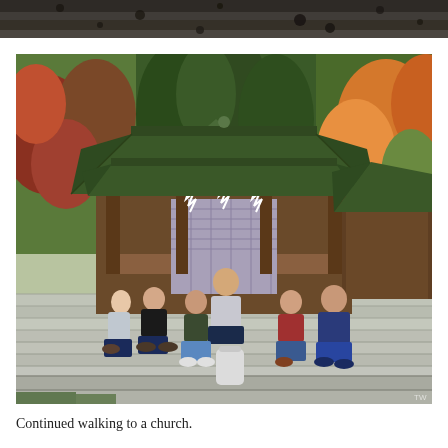[Figure (photo): Top portion of a partially visible photo — dark rocky or textured surface visible at the top edge of the page, cropped.]
[Figure (photo): Group of tourists (6 people) sitting on wide stone steps in front of a traditional Japanese Shinto shrine building with a tiled curved roof, wooden pillars, and a shimenawa rope decorated with shide paper streamers. Autumn trees with red, orange, and green foliage visible in the background.]
Continued walking to a church.